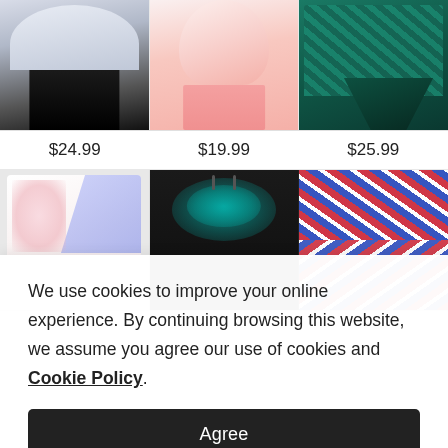[Figure (photo): E-commerce product grid showing swimwear and beachwear. Top row: black ombre two-piece swimsuit priced $24.99, pink flowy dress with shorts priced $19.99, teal patterned asymmetric swimsuit priced $25.99. Bottom row (partial): white floral one-piece, black one-piece with teal embellishment, red/blue/white printed bikini set.]
$24.99
$19.99
$25.99
We use cookies to improve your online experience. By continuing browsing this website, we assume you agree our use of cookies and Cookie Policy.
Agree